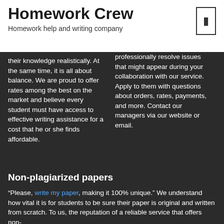Homework Crew
Homework help and writing company
their knowledge realistically. At the same time, it is all about balance. We are proud to offer rates among the best on the market and believe every student must have access to effective writing assistance for a cost that he or she finds affordable.
professionally resolve issues that might appear during your collaboration with our service. Apply to them with questions about orders, rates, payments, and more. Contact our managers via our website or email.
Non-plagiarized papers
“Please, write my paper, making it 100% unique.” We understand how vital it is for students to be sure their paper is original and written from scratch. To us, the reputation of a reliable service that offers non-